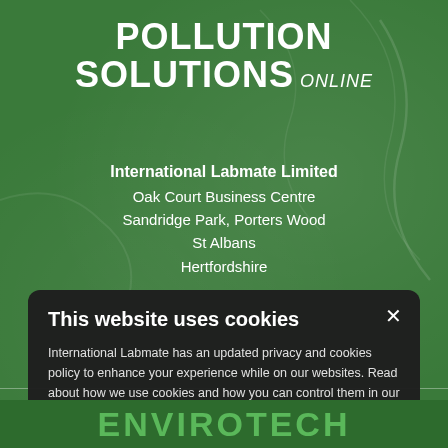POLLUTION SOLUTIONS Online
International Labmate Limited
Oak Court Business Centre
Sandridge Park, Porters Wood
St Albans
Hertfordshire
This website uses cookies
International Labmate has an updated privacy and cookies policy to enhance your experience while on our websites. Read about how we use cookies and how you can control them in our privacy policy. Continued use of this site indicates that you accept this policy. Read more
I AGREE
DECLINE ALL
ENVIROTECH